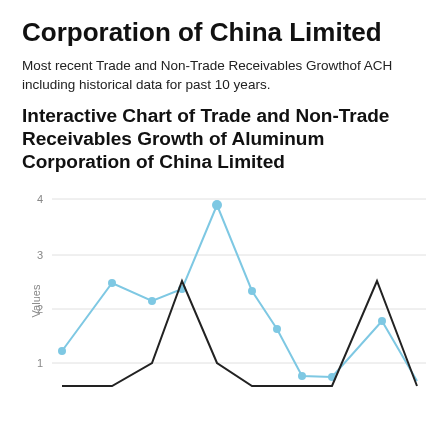Corporation of China Limited
Most recent Trade and Non-Trade Receivables Growthof ACH including historical data for past 10 years.
Interactive Chart of Trade and Non-Trade Receivables Growth of Aluminum Corporation of China Limited
[Figure (line-chart): Line chart showing two series (blue line with dots and black line) of trade and non-trade receivables growth over time. Y-axis shows values 1, 2, 3, 4. Blue line peaks around 3.7 at one point, reaches about 2.2 at another, and spikes to about 1.5 near the right. Black line shows two peaks around 1.5 and another near the right edge.]